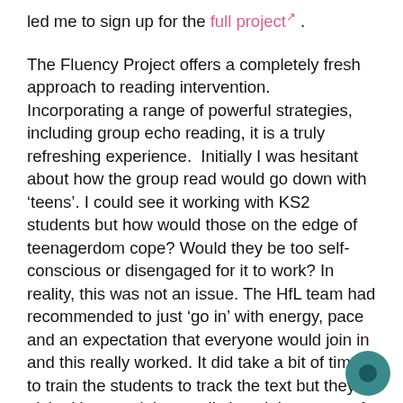led me to sign up for the full project .
The Fluency Project offers a completely fresh approach to reading intervention.  Incorporating a range of powerful strategies, including group echo reading, it is a truly refreshing experience.  Initially I was hesitant about how the group read would go down with ‘teens’. I could see it working with KS2 students but how would those on the edge of teenagerdom cope? Would they be too self-conscious or disengaged for it to work? In reality, this was not an issue. The HfL team had recommended to just ‘go in’ with energy, pace and an expectation that everyone would join in and this really worked. It did take a bit of time to train the students to track the text but they picked it up and they really loved the power of having a pencil and ‘text marking’ as we read.
For KS3 colleagues there are challenges of navigating a KS3 timetable. Who delivers it? When do they do it? What lessons should students miss in order to attend? I was